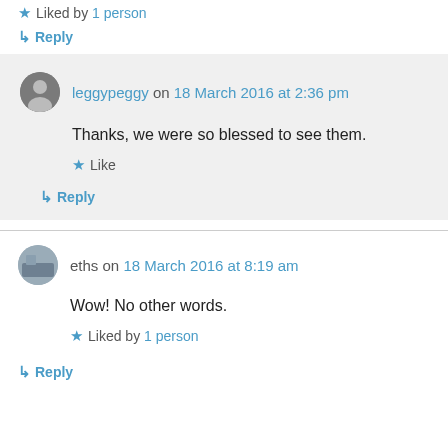★ Liked by 1 person
↳ Reply
leggypeggy on 18 March 2016 at 2:36 pm
Thanks, we were so blessed to see them.
★ Like
↳ Reply
eths on 18 March 2016 at 8:19 am
Wow! No other words.
★ Liked by 1 person
↳ Reply